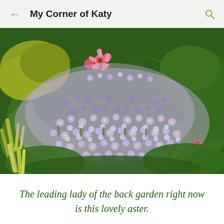My Corner of Katy
[Figure (photo): Close-up photograph of a garden aster plant covered in small lavender/purple star-shaped flowers, surrounded by green foliage, with other garden plants visible in the background including pink coneflowers.]
The leading lady of the back garden right now is this lovely aster.